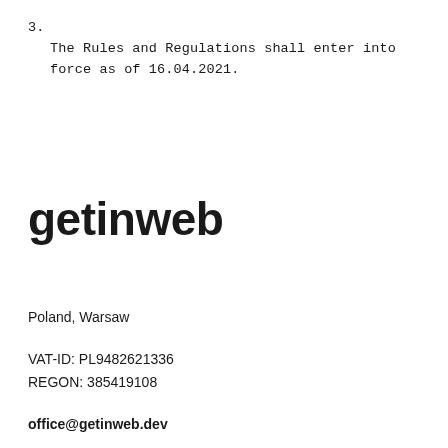3. The Rules and Regulations shall enter into force as of 16.04.2021.
getinweb
Poland, Warsaw
VAT-ID: PL9482621336
REGON: 385419108
office@getinweb.dev